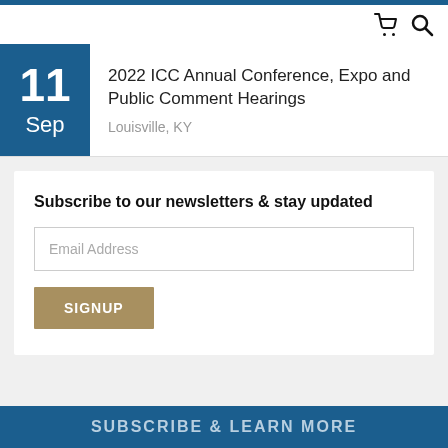2022 ICC Annual Conference, Expo and Public Comment Hearings
Louisville, KY
Subscribe to our newsletters & stay updated
Email Address
SIGNUP
SUBSCRIBE & LEARN MORE